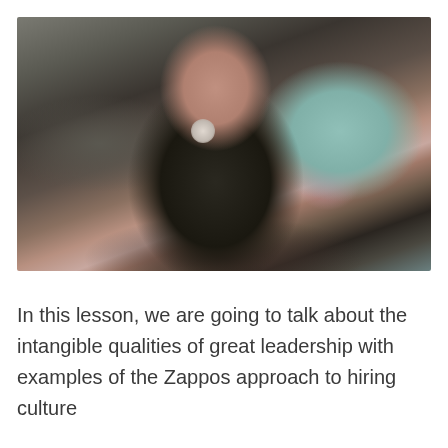[Figure (photo): A blurred/out-of-focus photograph of a person with reddish-brown hair wearing a dark shirt, seated in an indoor setting with a blurred background showing a light teal wall and a pink blurred object.]
In this lesson, we are going to talk about the intangible qualities of great leadership with examples of the Zappos approach to hiring culture